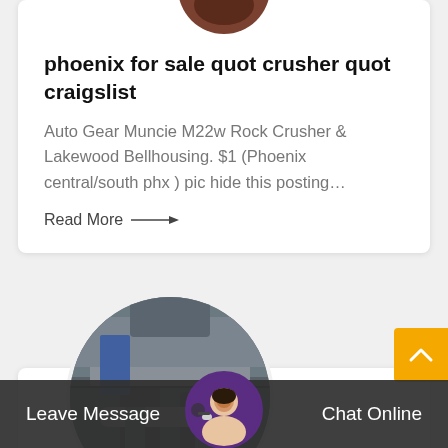[Figure (photo): Circular avatar image partially visible at the top of the card, showing a brown/dark image]
phoenix for sale quot crusher quot craigslist
Auto Gear Muncie M22w Rock Crusher & Lakewood Bellhousing. $1 (Phoenix central/south phx ) pic hide this posting…
Read More →
[Figure (photo): Circular image showing industrial crusher equipment/machinery at a mining site]
Leave Message
[Figure (photo): Customer service agent with headset, circular avatar in bottom bar]
Chat Online